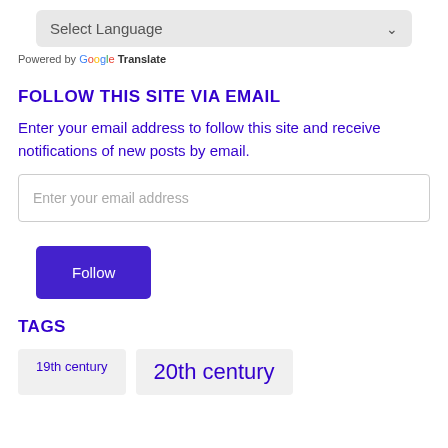[Figure (screenshot): Language selection dropdown bar with 'Select Language' placeholder text and a dropdown arrow, styled with a light gray background.]
Powered by Google Translate
FOLLOW THIS SITE VIA EMAIL
Enter your email address to follow this site and receive notifications of new posts by email.
[Figure (screenshot): Email input field with placeholder text 'Enter your email address', white background with border.]
[Figure (screenshot): Purple 'Follow' button.]
TAGS
19th century
20th century